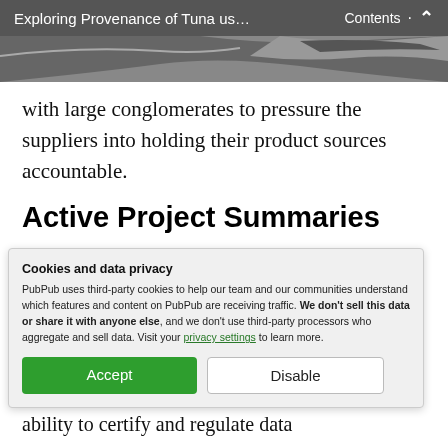Exploring Provenance of Tuna us… Contents
with large conglomerates to pressure the suppliers into holding their product sources accountable.
Active Project Summaries
Provenance: in partnership with the International Pole and Line Association
Cookies and data privacy
PubPub uses third-party cookies to help our team and our communities understand which features and content on PubPub are receiving traffic. We don't sell this data or share it with anyone else, and we don't use third-party processors who aggregate and sell data. Visit your privacy settings to learn more.
Accept | Disable